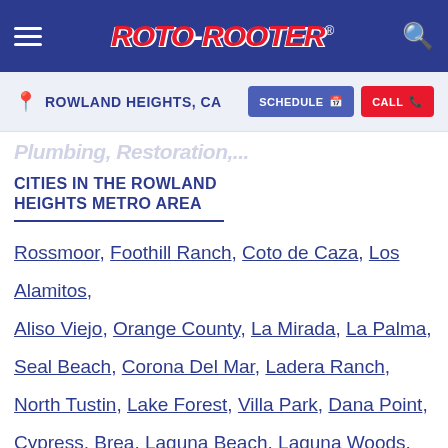Roto-Rooter navigation bar with hamburger menu, Roto-Rooter logo, and search icon
Location: Rowland Heights, CA | Schedule button | Call button
[Partial heading cut off]
CITIES IN THE ROWLAND HEIGHTS METRO AREA
Rossmoor, Foothill Ranch, Coto de Caza, Los Alamitos, Aliso Viejo, Orange County, La Mirada, La Palma, Seal Beach, Corona Del Mar, Ladera Ranch, North Tustin, Lake Forest, Villa Park, Dana Point, Cypress, Brea, Laguna Beach, Laguna Woods, Rancho Santa Margarita, Stanton, Laguna Hills